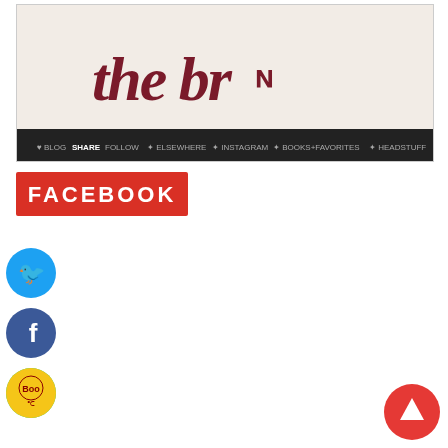[Figure (screenshot): Partial screenshot of a website or blog page showing cursive text 'the br...' in dark red on a light background, with a dark navigation bar at the bottom containing social media icons and text.]
[Figure (illustration): Red rectangle button with bold white text 'FACEBOOK']
[Figure (illustration): Twitter social share icon - blue circle with white bird logo]
[Figure (illustration): Facebook social share icon - blue circle with white 'f' logo]
[Figure (illustration): WhatsApp social share icon - green circle with white phone/chat logo]
[Figure (illustration): Yellow circle social share icon with a figure/Boo logo]
[Figure (illustration): Email share icon - grey circle outline with white envelope]
[Figure (illustration): Red circle scroll-to-top button with white upward arrow]